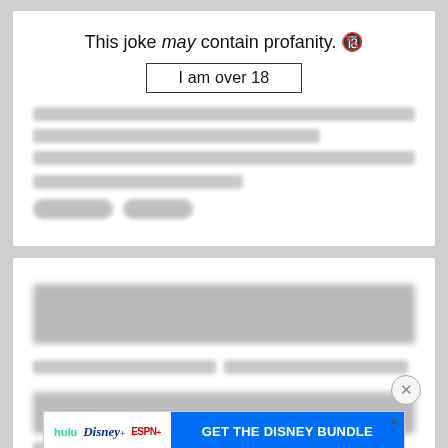This joke may contain profanity. 🔞
I am over 18
This joke may contain profanity. 🔞
I am over 18
[Figure (screenshot): Advertisement banner for Disney Bundle featuring Hulu, Disney+, ESPN+ logos and 'GET THE DISNEY BUNDLE' call to action button]